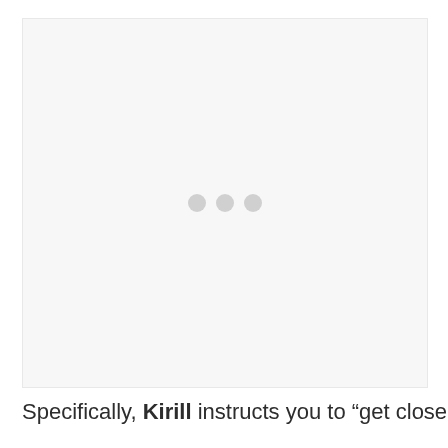[Figure (other): A light gray placeholder image area with three small gray loading dots centered in the middle, indicating an image is loading.]
Specifically, Kirill instructs you to “get close